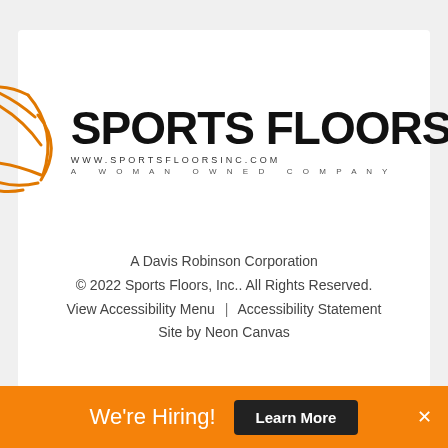[Figure (logo): Sports Floors Inc. logo with orange basketball graphic on the left and bold text 'SPORTS FLOORS INC.' on the right, with 'www.sportsfloorsinc.com' and 'A WOMAN OWNED COMPANY' beneath]
A Davis Robinson Corporation
© 2022 Sports Floors, Inc.. All Rights Reserved.
View Accessibility Menu   |   Accessibility Statement
Site by Neon Canvas
We're Hiring!  Learn More